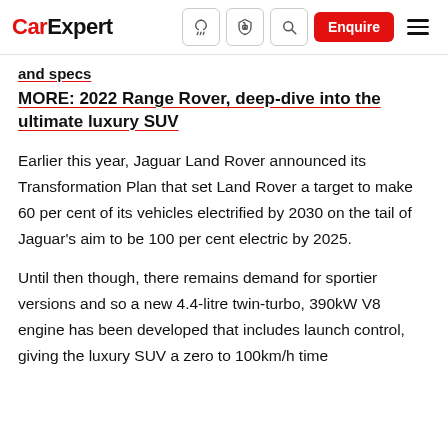CarExpert — Nav bar with logo, icons, Enquire button, hamburger menu
and specs
MORE: 2022 Range Rover, deep-dive into the ultimate luxury SUV
Earlier this year, Jaguar Land Rover announced its Transformation Plan that set Land Rover a target to make 60 per cent of its vehicles electrified by 2030 on the tail of Jaguar's aim to be 100 per cent electric by 2025.
Until then though, there remains demand for sportier versions and so a new 4.4-litre twin-turbo, 390kW V8 engine has been developed that includes launch control, giving the luxury SUV a zero to 100km/h time